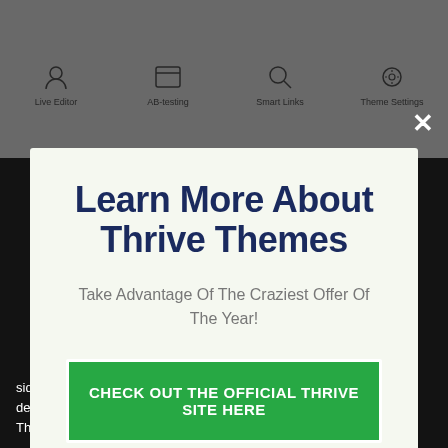[Figure (screenshot): Background webpage screenshot showing Thrive Themes interface with icons for Live Editor, AB-testing, Smart Links, and Theme settings]
Learn More About Thrive Themes
Take Advantage Of The Craziest Offer Of The Year!
CHECK OUT THE OFFICIAL THRIVE SITE HERE
No thanks, I'm not interested!
sidebar widget as well as just have these trigger on mobile, or on desktop computer. There are lots of different screen alternatives for Thrive Leads.